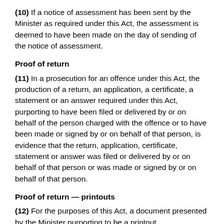(10) If a notice of assessment has been sent by the Minister as required under this Act, the assessment is deemed to have been made on the day of sending of the notice of assessment.
Proof of return
(11) In a prosecution for an offence under this Act, the production of a return, an application, a certificate, a statement or an answer required under this Act, purporting to have been filed or delivered by or on behalf of the person charged with the offence or to have been made or signed by or on behalf of that person, is evidence that the return, application, certificate, statement or answer was filed or delivered by or on behalf of that person or was made or signed by or on behalf of that person.
Proof of return — printouts
(12) For the purposes of this Act, a document presented by the Minister purporting to be a printout